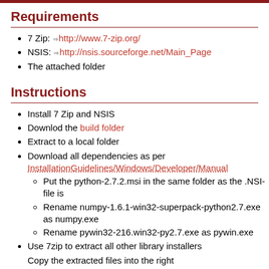Requirements
7 Zip: http://www.7-zip.org/
NSIS: http://nsis.sourceforge.net/Main_Page
The attached folder
Instructions
Install 7 Zip and NSIS
Downlod the build folder
Extract to a local folder
Download all dependencies as per InstallationGuidelines/Windows/Developer/Manual
Put the python-2.7.2.msi in the same folder as the .NSI-file is
Rename numpy-1.6.1-win32-superpack-python2.7.exe as numpy.exe
Rename pywin32-216.win32-py2.7.exe as pywin.exe
Use 7zip to extract all other library installers
Copy the extracted files into the right